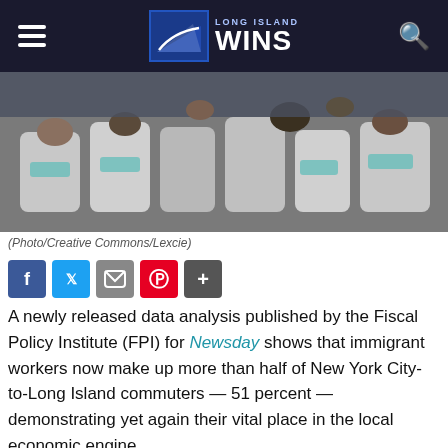LONG ISLAND WINS
[Figure (photo): Interior of a commuter train with passengers seated, viewed from behind, some using mobile devices.]
(Photo/Creative Commons/Lexcie)
[Figure (infographic): Social media share buttons: Facebook, Twitter, Email, Pinterest, Plus]
A newly released data analysis published by the Fiscal Policy Institute (FPI) for Newsday shows that immigrant workers now make up more than half of New York City-to-Long Island commuters — 51 percent — demonstrating yet again their vital place in the local economic engine.
Newsday profiled one of these reverse commute workers, Miguel Mane, a Dominican immigrant who treks from Brooklyn to Hempstead for about two hours to get to his job as a